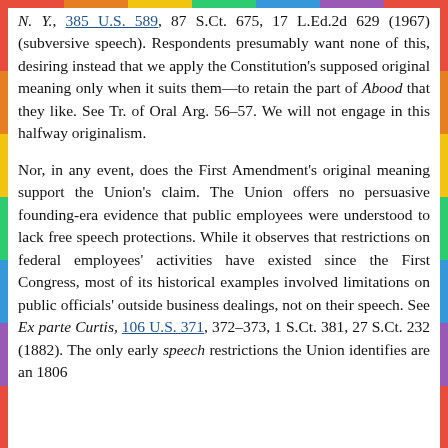N. Y., 385 U.S. 589, 87 S.Ct. 675, 17 L.Ed.2d 629 (1967) (subversive speech). Respondents presumably want none of this, desiring instead that we apply the Constitution's supposed original meaning only when it suits them—to retain the part of Abood that they like. See Tr. of Oral Arg. 56–57. We will not engage in this halfway originalism.
Nor, in any event, does the First Amendment's original meaning support the Union's claim. The Union offers no persuasive founding-era evidence that public employees were understood to lack free speech protections. While it observes that restrictions on federal employees' activities have existed since the First Congress, most of its historical examples involved limitations on public officials' outside business dealings, not on their speech. See Ex parte Curtis, 106 U.S. 371, 372–373, 1 S.Ct. 381, 27 S.Ct. 232 (1882). The only early speech restrictions the Union identifies are an 1806